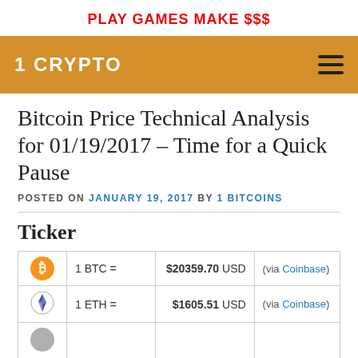PLAY GAMES MAKE $$$
1 CRYPTO
Bitcoin Price Technical Analysis for 01/19/2017 – Time for a Quick Pause
POSTED ON JANUARY 19, 2017 BY 1 BITCOINS
Ticker
|  |  | Price |  |
| --- | --- | --- | --- |
| [BTC icon] | 1 BTC = | $20359.70 USD | (via Coinbase) |
| [ETH icon] | 1 ETH = | $1605.51 USD | (via Coinbase) |
| [LTC icon] |  |  |  |